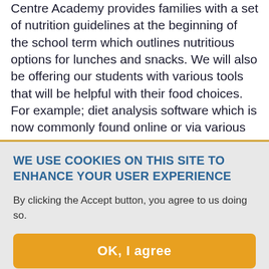Centre Academy provides families with a set of nutrition guidelines at the beginning of the school term which outlines nutritious options for lunches and snacks. We will also be offering our students with various tools that will be helpful with their food choices. For example; diet analysis software which is now commonly found online or via various apps can be extremely beneficial and guide you towards optimal nutrition.
Helping young athletes reach their potential requires teaching skills that give children the ability to focus
WE USE COOKIES ON THIS SITE TO ENHANCE YOUR USER EXPERIENCE
By clicking the Accept button, you agree to us doing so.
OK, I agree